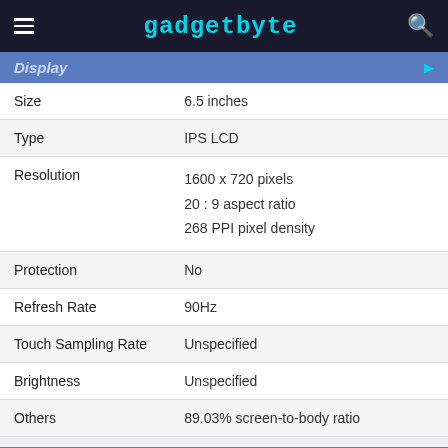gadgetbyte
Display
| Property | Value |
| --- | --- |
| Size | 6.5 inches |
| Type | IPS LCD |
| Resolution | 1600 x 720 pixels
20 : 9 aspect ratio
268 PPI pixel density |
| Protection | No |
| Refresh Rate | 90Hz |
| Touch Sampling Rate | Unspecified |
| Brightness | Unspecified |
| Others | 89.03% screen-to-body ratio |
Network